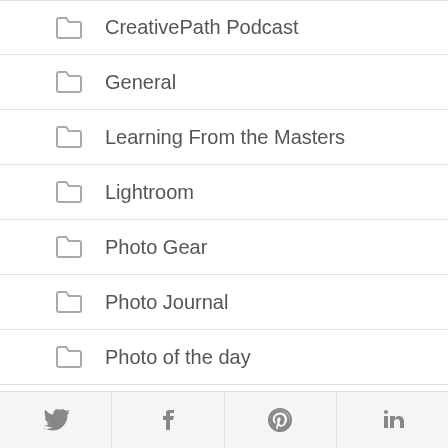CreativePath Podcast
General
Learning From the Masters
Lightroom
Photo Gear
Photo Journal
Photo of the day
Printing
Q+A